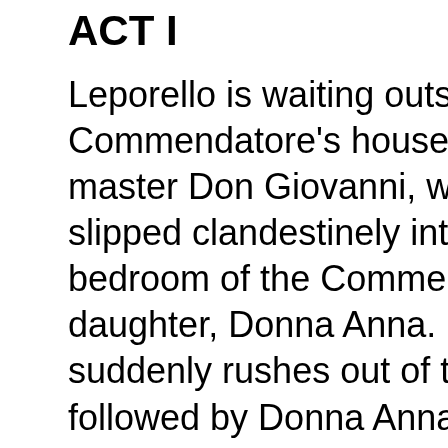ACT I
Leporello is waiting outside the Commendatore's house for his master Don Giovanni, who has slipped clandestinely into the bedroom of the Commendatore's daughter, Donna Anna. Don Giovanni suddenly rushes out of the house, followed by Donna Anna, who wants to know, no matter what, who her unexpected night-time visitor was. She unsuccessfully tries to te